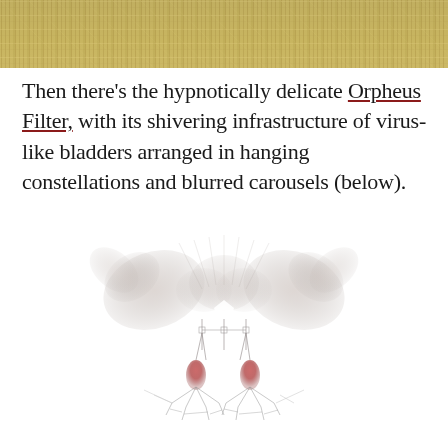[Figure (photo): Top banner image showing a dense array of mechanical or architectural structures with a metallic, gold-toned appearance, arranged in a grid-like pattern.]
Then there's the hypnotically delicate Orpheus Filter, with its shivering infrastructure of virus-like bladders arranged in hanging constellations and blurred carousels (below).
[Figure (illustration): A delicate, symmetrical illustration of the Orpheus Filter — an intricate structure resembling virus-like bladders, with wing-like forms at the top arranged in a mirror-symmetric pattern, and hanging below are two reddish/pink teardrop-shaped bladder forms suspended by thin wire-like lines with spider-like leg structures at the base.]